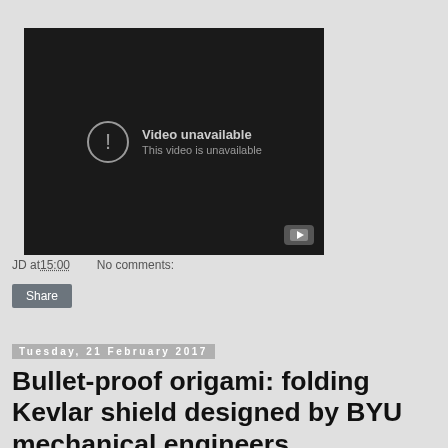[Figure (screenshot): YouTube video player showing 'Video unavailable - This video is unavailable' message with a YouTube button in the bottom right corner.]
JD at 15:00   No comments:
Share
Tuesday, 21 February 2017
Bullet-proof origami: folding Kevlar shield designed by BYU mechanical engineers